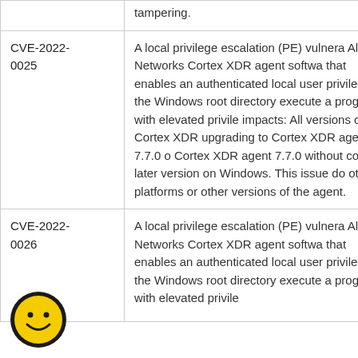| CVE ID | Description |
| --- | --- |
|  | tampering. |
| CVE-2022-0025 | A local privilege escalation (PE) vulnera... Alto Networks Cortex XDR agent softwa... that enables an authenticated local user ... privilege in the Windows root directory... execute a program with elevated privile... impacts: All versions of the Cortex XDR... upgrading to Cortex XDR agent 7.7.0 o... Cortex XDR agent 7.7.0 without content... later version on Windows. This issue do... other platforms or other versions of the... agent. |
| CVE-2022-0026 | A local privilege escalation (PE) vulnera... Alto Networks Cortex XDR agent softwa... that enables an authenticated local user ... privilege in the Windows root directory... execute a program with elevated privile... |